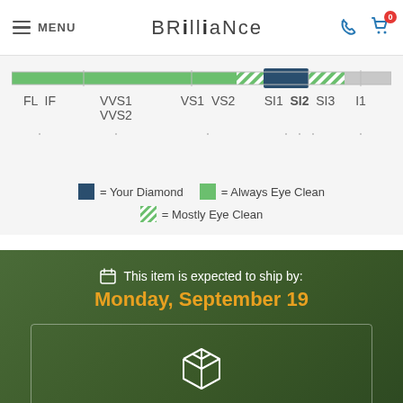MENU | BRILLIANCE | phone icon | cart icon (0)
[Figure (infographic): Diamond clarity scale bar showing green (Always Eye Clean), striped green (Mostly Eye Clean), and dark blue (Your Diamond/SI2) sections across FL IF, VVS1 VVS2, VS1 VS2, SI1 SI2 SI3, I1 grades]
= Your Diamond   = Always Eye Clean   = Mostly Eye Clean
This item is expected to ship by:
Monday, September 19
[Figure (illustration): Package/box icon in white outline]
Your Package
Every diamond from Brilliance includes the original